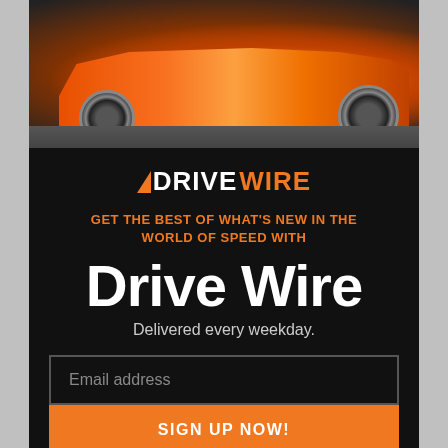[Figure (photo): Orange Lamborghini sports car photographed from the side against a dark/grey background, showing the sleek low body, large alloy wheels, and aggressive styling.]
[Figure (logo): DriveWire logo: orange forward-slash chevron followed by DRIVE in white bold uppercase and WIRE in orange bold uppercase]
GET THE BEST OF WHAT'S NEW IN THE WORLD OF SPEED WITH
Drive Wire
Delivered every weekday.
Email address
SIGN UP NOW!